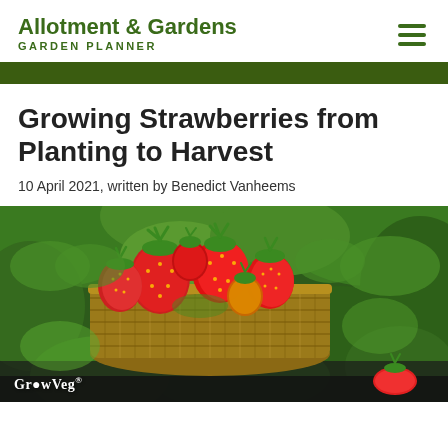Allotment & Gardens
GARDEN PLANNER
Growing Strawberries from Planting to Harvest
10 April 2021, written by Benedict Vanheems
[Figure (photo): A wicker basket filled with ripe red strawberries sitting among green strawberry plants in a garden. GrowVeg watermark in bottom left.]